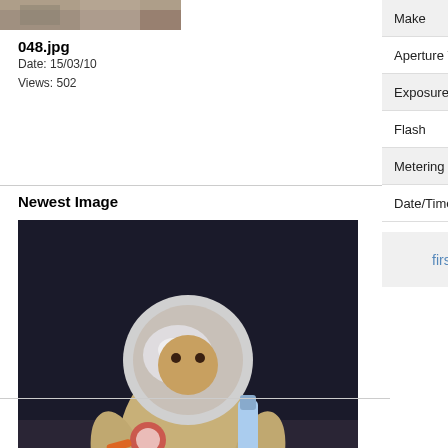[Figure (photo): Top thumbnail image - brownish textured surface]
048.jpg
Date: 15/03/10
Views: 502
Newest Image
[Figure (photo): Gravity Bear - toy bear in astronaut suit on dark background]
Gravity Bear.jpg
Date: 07/12/14
Views: 74502
Newest Album
[Figure (photo): Person in orange jacket in front of building with bare trees]
| Property | Value | Extra |
| --- | --- | --- |
| Make | CASIO COMPUTER CO.,LTD | Mo |
| Aperture Value | f/3.3 | Co |
| Exposure Bias Value | 0 EV | Exp |
| Flash | No Flash | Fo |
| Metering Mode | Multi-Segment | Sh |
| Date/Time | Thu 28 Jul 2005 12:34:39 BST |  |
first    previous